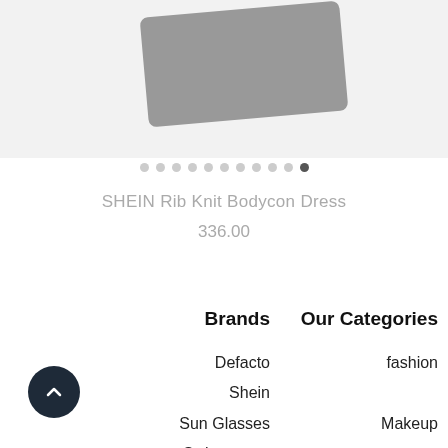[Figure (photo): Product image placeholder showing a grey rounded rectangle on a light grey background]
[Figure (other): Image carousel dots indicator with 11 dots, last one active/dark]
SHEIN Rib Knit Bodycon Dress
336.00
Brands
Our Categories
Defacto
Shein
Sun Glasses
Swimmwaer
NIVEA
fashion
Makeup
Health and Beauty